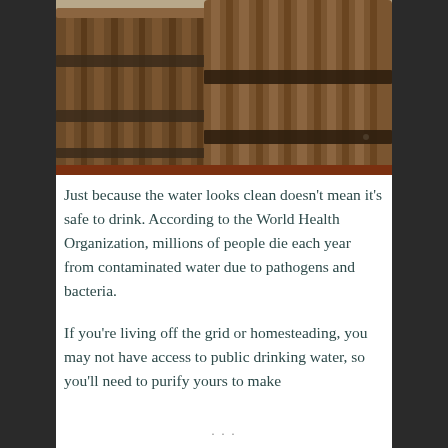[Figure (photo): Photograph of two old weathered wooden barrels with metal bands, viewed from above and side. A dark rust-colored horizontal stripe runs across the bottom of the image.]
Just because the water looks clean doesn't mean it's safe to drink. According to the World Health Organization, millions of people die each year from contaminated water due to pathogens and bacteria.
If you're living off the grid or homesteading, you may not have access to public drinking water, so you'll need to purify yours to make